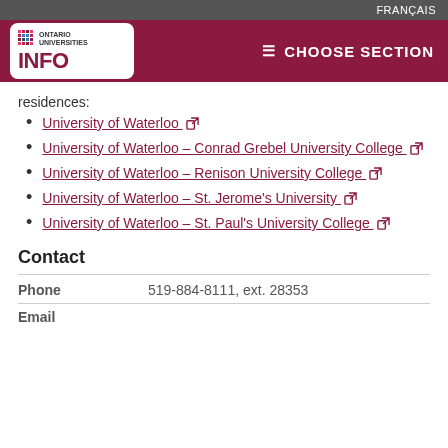FRANÇAIS
ONTARIO UNIVERSITIES INFO — CHOOSE SECTION
residences:
University of Waterloo [external link]
University of Waterloo – Conrad Grebel University College [external link]
University of Waterloo – Renison University College [external link]
University of Waterloo – St. Jerome's University [external link]
University of Waterloo – St. Paul's University College [external link]
Contact
Phone	519-884-8111, ext. 28353
Email...